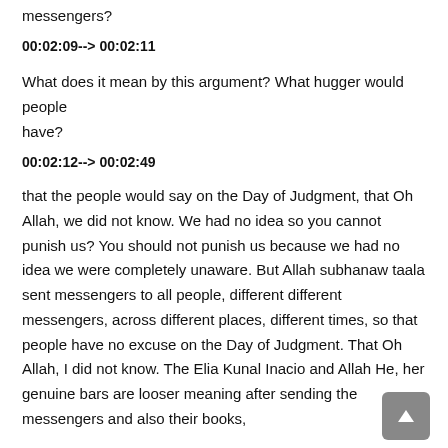messengers?
00:02:09--> 00:02:11
What does it mean by this argument? What hugger would people have?
00:02:12--> 00:02:49
that the people would say on the Day of Judgment, that Oh Allah, we did not know. We had no idea so you cannot punish us? You should not punish us because we had no idea we were completely unaware. But Allah subhanaw taala sent messengers to all people, different different messengers, across different places, different times, so that people have no excuse on the Day of Judgment. That Oh Allah, I did not know. The Elia Kunal Inacio and Allah He, her genuine bars are looser meaning after sending the messengers and also their books,